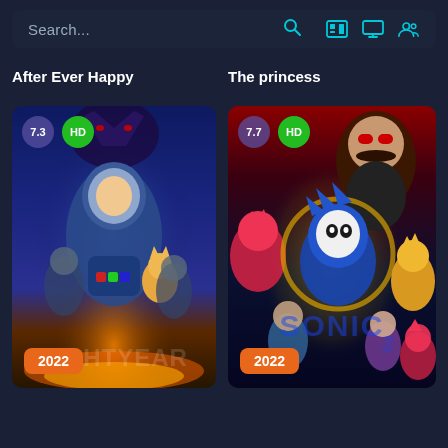[Figure (screenshot): Search bar with search icon and navigation icons (bookmark, monitor, person) on dark background]
After Ever Happy
The princess
[Figure (photo): Movie poster for Lightyear (2022) showing animated characters with rating badge 7.3, HD badge, and year 2022]
[Figure (photo): Movie poster for Sonic the Hedgehog 2 (2022) showing Sonic and characters with rating badge 7.7, HD badge, and year 2022]